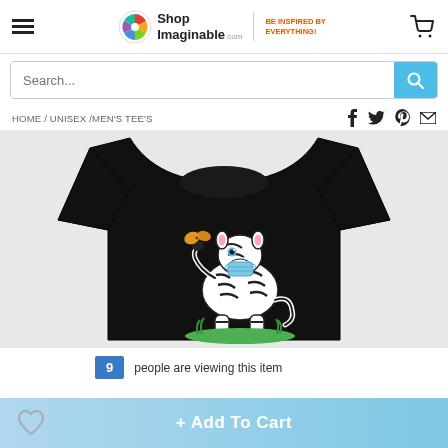Shop Imaginable — BE INSPIRED BY EVERYTHING!
Search...
HOME / UNISEX /MEN'S TEE'S
[Figure (photo): Black unisex t-shirt with a cute cartoon zebra wearing a face mask and holding a butterfly, sitting on green grass, printed on front.]
9 people are viewing this item
+ Add To Cart